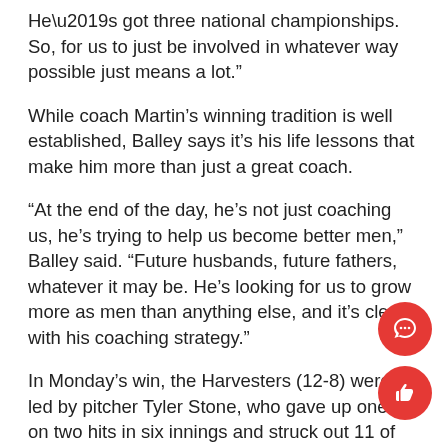He’s got three national championships. So, for us to just be involved in whatever way possible just means a lot.”
While coach Martin’s winning tradition is well established, Balley says it’s his life lessons that make him more than just a great coach.
“At the end of the day, he’s not just coaching us, he’s trying to help us become better men,” Balley said. “Future husbands, future fathers, whatever it may be. He’s looking for us to grow more as men than anything else, and it’s clear with his coaching strategy.”
In Monday’s win, the Harvesters (12-8) were led by pitcher Tyler Stone, who gave up one run on two hits in six innings and struck out 11 of the 22 batters he faced.
“I just got ahead early, pounded them with strikes and forced contact,” Stone said.